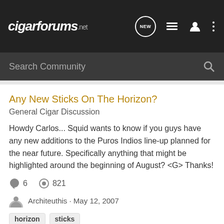cigarforums.net
Search Community
Any New Sticks On The Horizon?
General Cigar Discussion
Howdy Carlos... Squid wants to know if you guys have any new additions to the Puros Indios line-up planned for the near future. Specifically anything that might be highlighted around the beginning of August? <G> Thanks!
6   821
Architeuthis · May 12, 2007
horizon
sticks
Cigar Love on the Horizon...
General Cigar Discussion